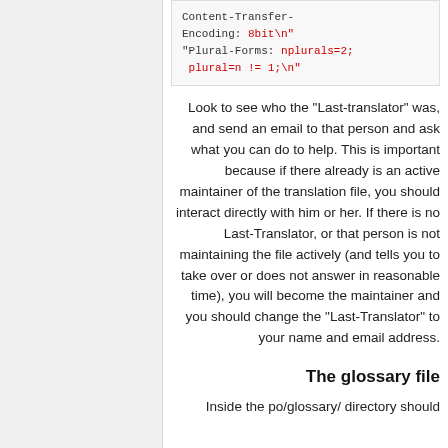[Figure (screenshot): Code block showing Content-Transfer-Encoding: 8bit\n and Plural-Forms: nplurals=2; plural=n != 1;\n with red highlighted values]
Look to see who the "Last-translator" was, and send an email to that person and ask what you can do to help. This is important because if there already is an active maintainer of the translation file, you should interact directly with him or her. If there is no Last-Translator, or that person is not maintaining the file actively (and tells you to take over or does not answer in reasonable time), you will become the maintainer and you should change the "Last-Translator" to your name and email address.
The glossary file
Inside the po/glossary/ directory should